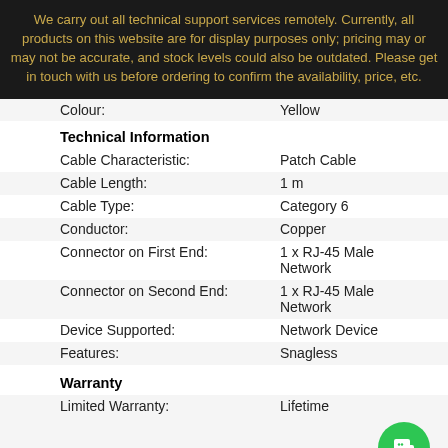We carry out all technical support services remotely. Currently, all products on this website are for display purposes only; pricing may or may not be accurate, and stock levels could also be outdated. Please get in touch with us before ordering to confirm the availability, price, etc.
| Property | Value |
| --- | --- |
| Colour: | Yellow |
| Cable Characteristic: | Patch Cable |
| Cable Length: | 1 m |
| Cable Type: | Category 6 |
| Conductor: | Copper |
| Connector on First End: | 1 x RJ-45 Male Network |
| Connector on Second End: | 1 x RJ-45 Male Network |
| Device Supported: | Network Device |
| Features: | Snagless |
| Limited Warranty: | Lifetime |
Tweet  Share
OTHER FINE PRODUCTS